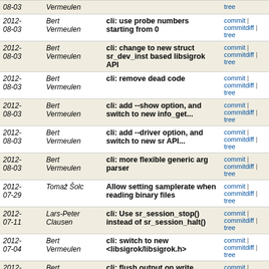| Date | Author | Message | Links |
| --- | --- | --- | --- |
| 2012-08-03 | Bert Vermeulen |  | commit | commitdiff | tree |
| 2012-08-03 | Bert Vermeulen | cli: use probe numbers starting from 0 | commit | commitdiff | tree |
| 2012-08-03 | Bert Vermeulen | cli: change to new struct sr_dev_inst based libsigrok API | commit | commitdiff | tree |
| 2012-08-03 | Bert Vermeulen | cli: remove dead code | commit | commitdiff | tree |
| 2012-08-03 | Bert Vermeulen | cli: add --show option, and switch to new info_get... | commit | commitdiff | tree |
| 2012-08-03 | Bert Vermeulen | cli: add --driver option, and switch to new sr API... | commit | commitdiff | tree |
| 2012-08-03 | Bert Vermeulen | cli: more flexible generic arg parser | commit | commitdiff | tree |
| 2012-07-29 | Tomaž Šolc | Allow setting samplerate when reading binary files | commit | commitdiff | tree |
| 2012-07-11 | Lars-Peter Clausen | cli: Use sr_session_stop() instead of sr_session_halt() | commit | commitdiff | tree |
| 2012-07-04 | Bert Vermeulen | cli: switch to new <libsigrok/libsigrok.h> | commit | commitdiff | tree |
| 2012-06-26 | Bert Vermeulen | cli: flush output on write | commit | commitdiff | tree |
| 2012-06-24 | Lars-Peter Clausen | cli: Fix typo in protocol decoder stacking example | commit | commitdiff | tree |
| 2012-06-22 | Bert Vermeulen | sr/srd/cli: require glib version >= 2.28 | commit | commitdiff | tree |
| 2012-06-19 | Bert Vermeulen | cli: use output API for analog and frame begin/end | commit | commitdiff | tree |